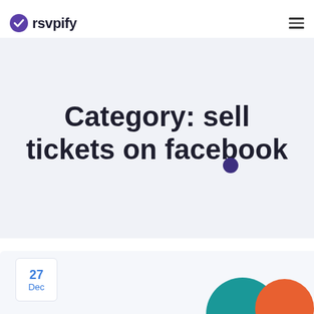Archive page banner
[Figure (logo): rsvpify logo with purple checkmark icon and dark text]
Category: sell tickets on facebook
27 Dec